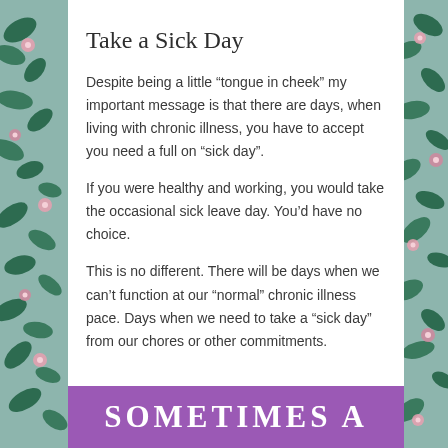Take a Sick Day
Despite being a little “tongue in cheek” my important message is that there are days, when living with chronic illness, you have to accept you need a full on “sick day”.
If you were healthy and working, you would take the occasional sick leave day. You’d have no choice.
This is no different. There will be days when we can’t function at our “normal” chronic illness pace. Days when we need to take a “sick day” from our chores or other commitments.
[Figure (other): Purple banner with white bold text reading SOMETIMES A]